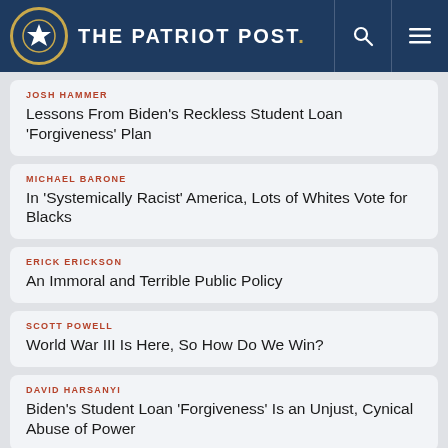The Patriot Post
JOSH HAMMER — Lessons From Biden's Reckless Student Loan 'Forgiveness' Plan
MICHAEL BARONE — In 'Systemically Racist' America, Lots of Whites Vote for Blacks
ERICK ERICKSON — An Immoral and Terrible Public Policy
SCOTT POWELL — World War III Is Here, So How Do We Win?
DAVID HARSANYI — Biden's Student Loan 'Forgiveness' Is an Unjust, Cynical Abuse of Power
LAURA HOLLIS — Warned 'Compassion' Destroys Society